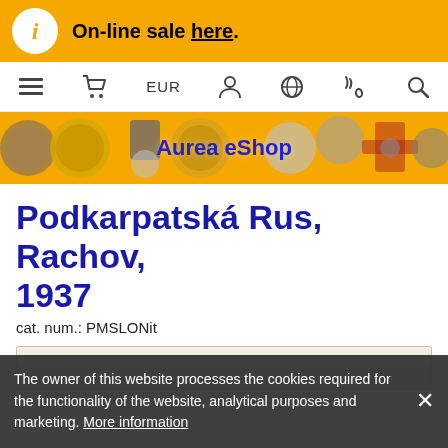On-line sale here.
[Figure (screenshot): Navigation bar with hamburger menu, cart, EUR currency, user, globe, phone, and search icons]
[Figure (photo): Aurea eShop banner showing various coins and medals on orange background with blue bold text 'Aurea eShop']
Podkarpatská Rus, Rachov, 1937
cat. num.: PMSLONit
[Figure (photo): Partial product image visible at bottom, showing historical photograph]
The owner of this website processes the cookies required for the functionality of the website, analytical purposes and marketing. More information